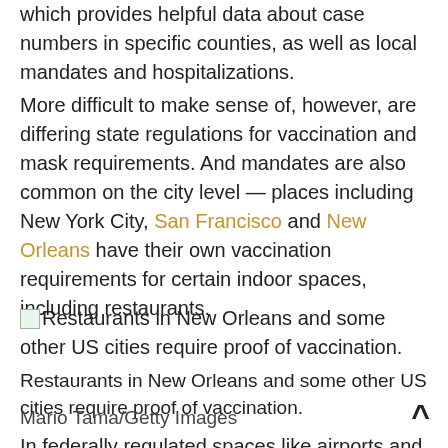which provides helpful data about case numbers in specific counties, as well as local mandates and hospitalizations.
More difficult to make sense of, however, are differing state regulations for vaccination and mask requirements. And mandates are also common on the city level — places including New York City, San Francisco and New Orleans have their own vaccination requirements for certain indoor spaces, including restaurants.
[Figure (photo): Small image placeholder icon for photo of restaurants requiring proof of vaccination]
Restaurants in New Orleans and some other US cities require proof of vaccination.
Restaurants in New Orleans and some other US cities require proof of vaccination.
Mario Tama/Getty Images
In federally regulated spaces like airports and on airplanes, masks are mandatory, as well as on